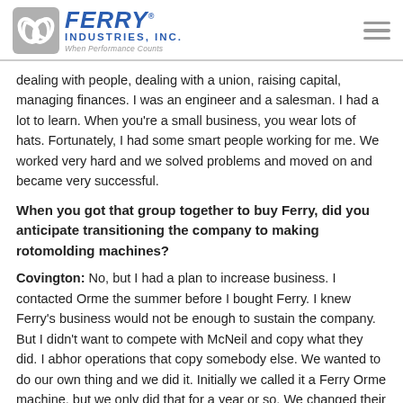Ferry Industries, Inc. — When Performance Counts
dealing with people, dealing with a union, raising capital, managing finances. I was an engineer and a salesman. I had a lot to learn. When you're a small business, you wear lots of hats. Fortunately, I had some smart people working for me. We worked very hard and we solved problems and moved on and became very successful.
When you got that group together to buy Ferry, did you anticipate transitioning the company to making rotomolding machines?
Covington: No, but I had a plan to increase business. I contacted Orme the summer before I bought Ferry. I knew Ferry's business would not be enough to sustain the company. But I didn't want to compete with McNeil and copy what they did. I abhor operations that copy somebody else. We wanted to do our own thing and we did it. Initially we called it a Ferry Orme machine, but we only did that for a year or so. We changed their design so much that I didn't want to use their name anymore. We paid them a royalty for quite a few years until we bought them for their know-how. We had a great